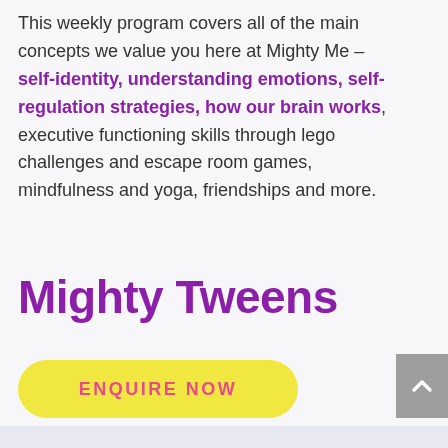This weekly program covers all of the main concepts we value you here at Mighty Me – self-identity, understanding emotions, self-regulation strategies, how our brain works, executive functioning skills through lego challenges and escape room games, mindfulness and yoga, friendships and more.
Mighty Tweens
ENQUIRE NOW